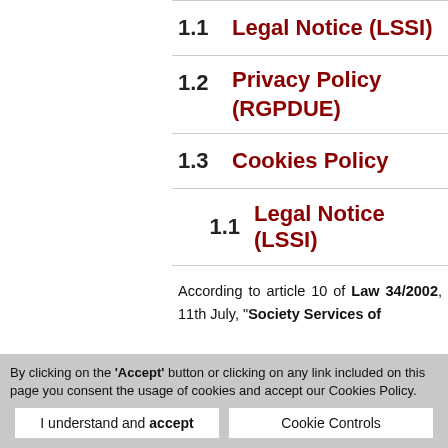1.1  Legal Notice (LSSI)
1.2  Privacy Policy (RGPDUE)
1.3  Cookies Policy
1.1  Legal Notice (LSSI)
According to article 10 of Law 34/2002, 11th July, “Society Services of
By clicking on the 'Accept' button or clicking on any link included on this page you consent the usage of cookies and accept our Cookies Policy.